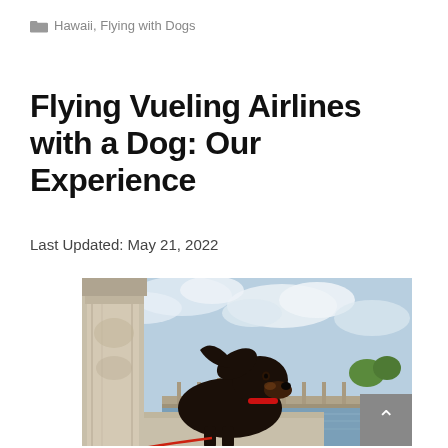Hawaii, Flying with Dogs
Flying Vueling Airlines with a Dog: Our Experience
Last Updated: May 21, 2022
[Figure (photo): A dachshund dog sitting on a stone ledge with its ear blown back by wind, with a classical ornate bridge and cloudy sky in the background, in what appears to be Paris near the Seine river.]